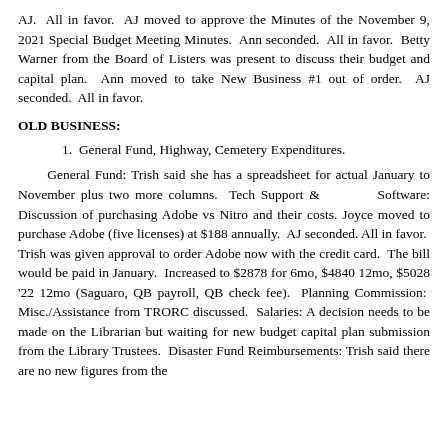AJ. All in favor. AJ moved to approve the Minutes of the November 9, 2021 Special Budget Meeting Minutes. Ann seconded. All in favor. Betty Warner from the Board of Listers was present to discuss their budget and capital plan. Ann moved to take New Business #1 out of order. AJ seconded. All in favor.
OLD BUSINESS:
1. General Fund, Highway, Cemetery Expenditures.
General Fund: Trish said she has a spreadsheet for actual January to November plus two more columns. Tech Support & Software: Discussion of purchasing Adobe vs Nitro and their costs. Joyce moved to purchase Adobe (five licenses) at $188 annually. AJ seconded. All in favor. Trish was given approval to order Adobe now with the credit card. The bill would be paid in January. Increased to $2878 for 6mo, $4840 12mo, $5028 '22 12mo (Saguaro, QB payroll, QB check fee). Planning Commission: Misc./Assistance from TRORC discussed. Salaries: A decision needs to be made on the Librarian but waiting for new budget capital plan submission from the Library Trustees. Disaster Fund Reimbursements: Trish said there are no new figures from the